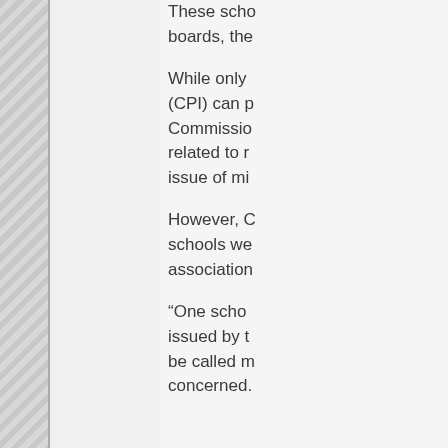These scho boards, the
While only (CPI) can p Commissio related to r issue of mi
However, C schools we association
“One scho issued by t be called m concerned.